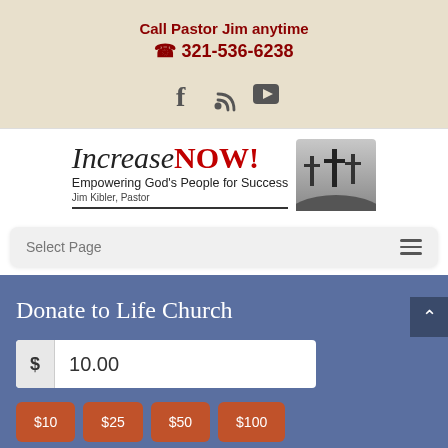Call Pastor Jim anytime
📞 321-536-6238
[Figure (other): Social media icons: Facebook, RSS feed, YouTube]
[Figure (logo): IncreaseNOW! logo with tagline 'Empowering God's People for Success', Jim Kibler, Pastor, with three crosses silhouette]
Select Page
Donate to Life Church
$ 10.00
$10
$25
$50
$100
Donation Amount of Your Choice